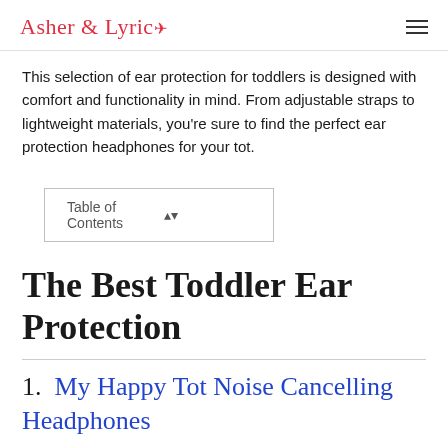Asher & Lyric
This selection of ear protection for toddlers is designed with comfort and functionality in mind. From adjustable straps to lightweight materials, you're sure to find the perfect ear protection headphones for your tot.
Table of Contents
The Best Toddler Ear Protection
1.  My Happy Tot Noise Cancelling Headphones